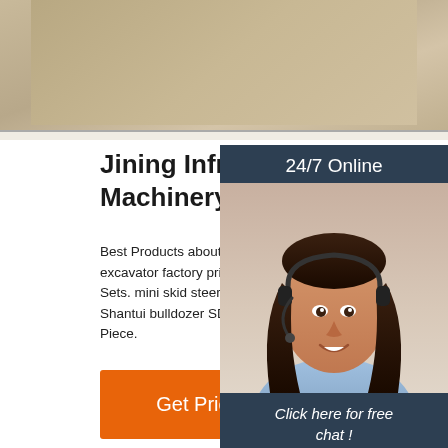[Figure (photo): Top banner photo of a sandy/dusty surface or terrain, cropped showing a textured background]
Jining Infront Construction Machinery Co., Ltd. - Shantui
Best Products about Bulldozer, mini skid steer excavator. mini excavator factory price. FOB Price: USD $4500 Set. Min. Order: 1 Sets. mini skid steer China. FOB Price: USD $6800 Set. Min. Order: Shantui bulldozer SD13 SD16 SD22 SD32. FOB Price: USD $50000 Piece.
[Figure (photo): 24/7 Online customer service panel showing a smiling woman with headset, dark background, with Click here for free chat text and QUOTATION button]